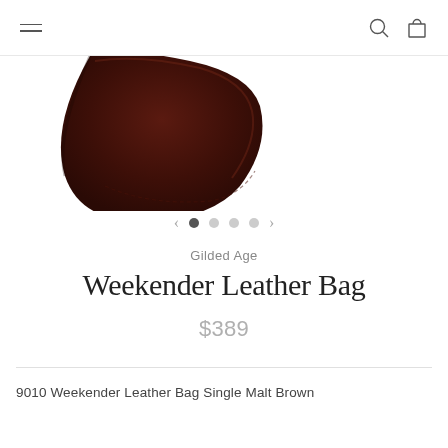Navigation bar with hamburger menu, search icon, and cart icon
[Figure (photo): Partial view of a dark brown leather weekender bag, showing the corner and strap area against a white background]
< • ○ ○ ○ >
Gilded Age
Weekender Leather Bag
$389
9010 Weekender Leather Bag Single Malt Brown